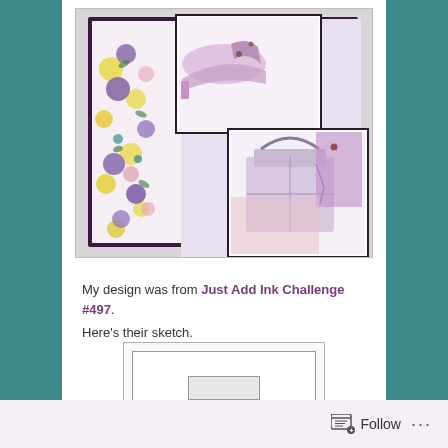[Figure (photo): Handmade greeting card with floral patterned paper background featuring purple, yellow and pink flowers, with stamped images of high-heeled shoes and a handbag in purple/pink tones, mounted on dark purple cardstock border]
My design was from Just Add Ink Challenge #497. Here's their sketch.
[Figure (schematic): Card sketch layout diagram showing a large rectangular card outline with a smaller rectangle centered at the bottom, representing a card design sketch for Just Add Ink Challenge #497]